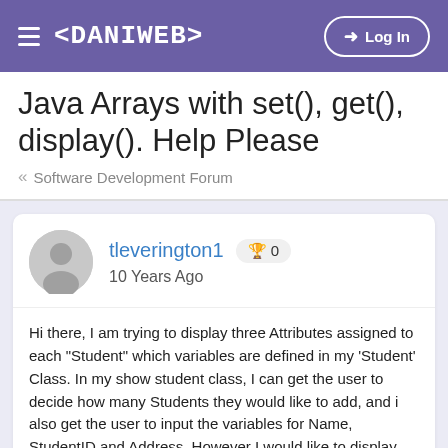≡ <DANIWEB> → Log In
Java Arrays with set(), get(), display(). Help Please
« Software Development Forum
tleverington1 🏆 0
10 Years Ago
Hi there, I am trying to display three Attributes assigned to each "Student" which variables are defined in my 'Student' Class. In my show student class, I can get the user to decide how many Students they would like to add, and i also get the user to input the variables for Name, StudentID and Address. However I would like to display them in the format of void display() in the 'Student Class'.
I know i will have to use a for statement and i am trying to